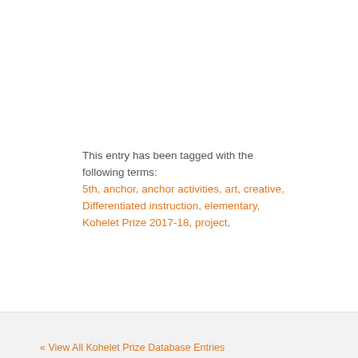This entry has been tagged with the following terms:
5th, anchor, anchor activities, art, creative, Differentiated instruction, elementary, Kohelet Prize 2017-18, project,
« View All Kohelet Prize Database Entries